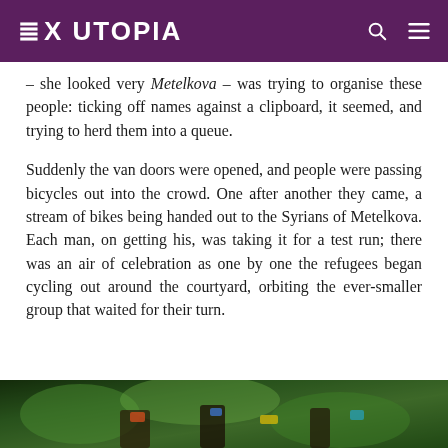EX UTOPIA
– she looked very Metelkova – was trying to organise these people: ticking off names against a clipboard, it seemed, and trying to herd them into a queue.
Suddenly the van doors were opened, and people were passing bicycles out into the crowd. One after another they came, a stream of bikes being handed out to the Syrians of Metelkova. Each man, on getting his, was taking it for a test run; there was an air of celebration as one by one the refugees began cycling out around the courtyard, orbiting the ever-smaller group that waited for their turn.
[Figure (photo): Bottom portion of a photograph showing an outdoor scene with green foliage and colorful elements, partially visible at the bottom of the page.]